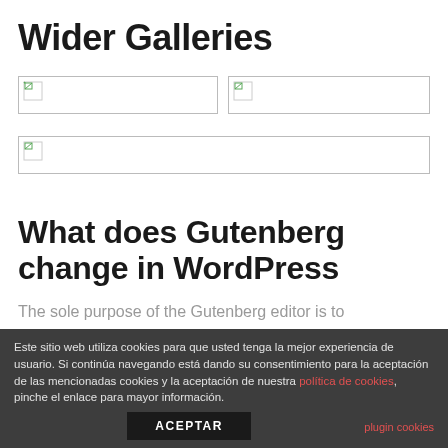Wider Galleries
[Figure (photo): Broken image placeholder (left, top row)]
[Figure (photo): Broken image placeholder (right, top row)]
[Figure (photo): Broken image placeholder (full width, second row)]
What does Gutenberg change in WordPress
The sole purpose of the Gutenberg editor is to
Este sitio web utiliza cookies para que usted tenga la mejor experiencia de usuario. Si continúa navegando está dando su consentimiento para la aceptación de las mencionadas cookies y la aceptación de nuestra política de cookies, pinche el enlace para mayor información.
ACEPTAR
plugin cookies